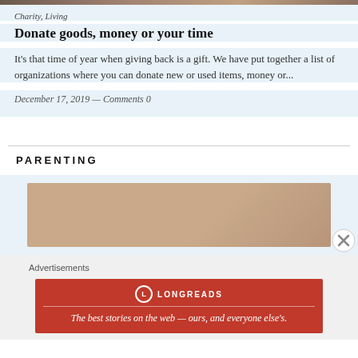[Figure (photo): Cropped top strip of a photo, partially visible]
Charity, Living
Donate goods, money or your time
It's that time of year when giving back is a gift. We have put together a list of organizations where you can donate new or used items, money or...
December 17, 2019 — Comments 0
PARENTING
[Figure (photo): Partially visible brownish/beige image for parenting section]
Advertisements
[Figure (other): Longreads advertisement banner: The best stories on the web — ours, and everyone else's.]